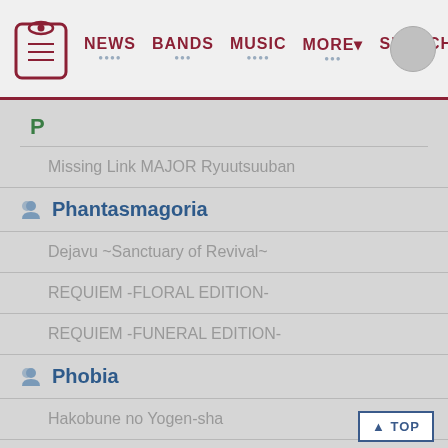NEWS  BANDS  MUSIC  MORE  SEARCH
P
Missing Link MAJOR Ryuutsuuban
Phantasmagoria
Dejavu ~Sanctuary of Revival~
REQUIEM -FLORAL EDITION-
REQUIEM -FUNERAL EDITION-
Phobia
Hakobune no Yogen-sha
~if~